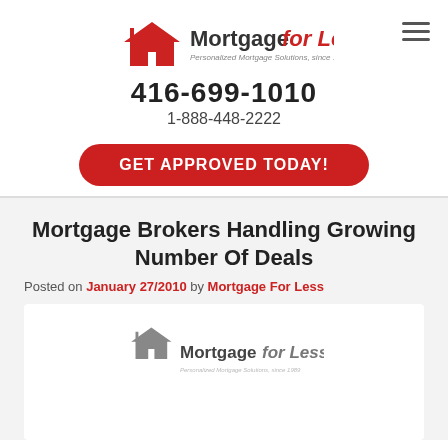[Figure (logo): Mortgage for Less logo with house icon and tagline 'Personalized Mortgage Solutions, since 1989']
416-699-1010
1-888-448-2222
GET APPROVED TODAY!
Mortgage Brokers Handling Growing Number Of Deals
Posted on January 27/2010 by Mortgage For Less
[Figure (logo): Mortgage for Less logo (smaller, gray version) with house icon and tagline 'Personalized Mortgage Solutions, since 1989']